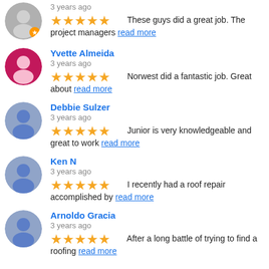3 years ago — These guys did a great job. The project managers read more
Yvette Almeida — 3 years ago — Norwest did a fantastic job. Great about read more
Debbie Sulzer — 3 years ago — Junior is very knowledgeable and great to work read more
Ken N — 3 years ago — I recently had a roof repair accomplished by read more
Arnoldo Gracia — 3 years ago — After a long battle of trying to find a roofing read more